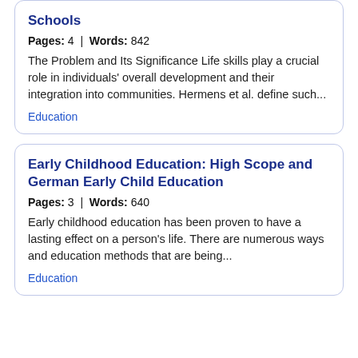Schools
Pages: 4 | Words: 842
The Problem and Its Significance Life skills play a crucial role in individuals' overall development and their integration into communities. Hermens et al. define such...
Education
Early Childhood Education: High Scope and German Early Child Education
Pages: 3 | Words: 640
Early childhood education has been proven to have a lasting effect on a person's life. There are numerous ways and education methods that are being...
Education